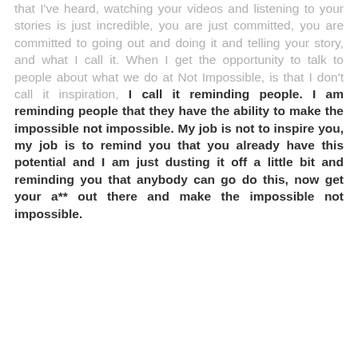You are one of the most amazing stories that I've heard, watching your videos and listening to your stories is just incredible, you are just committed, you are committed to going out and doing it and telling your story, and what I call it. When I get the opportunity to talk to people about what we do at Not Impossible, is that I don't call it inspiration, I call it reminding people. I am reminding people that they have the ability to make the impossible not impossible. My job is not to inspire you, my job is to remind you that you already have this potential and I am just dusting it off a little bit and reminding you that anybody can go do this, now get your a** out there and make the impossible not impossible.